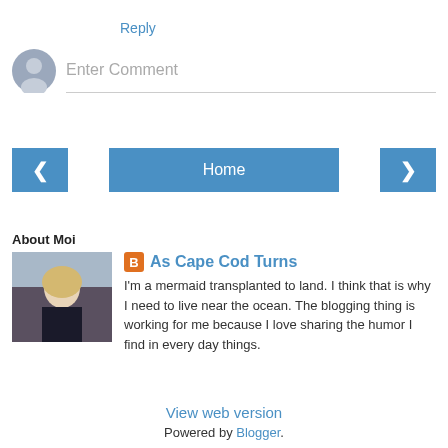Reply
Enter Comment
Home
View web version
About Moi
[Figure (photo): Profile photo of blogger – woman with blonde hair sitting near ocean rocks]
As Cape Cod Turns
I'm a mermaid transplanted to land. I think that is why I need to live near the ocean. The blogging thing is working for me because I love sharing the humor I find in every day things.
View my complete profile
Powered by Blogger.